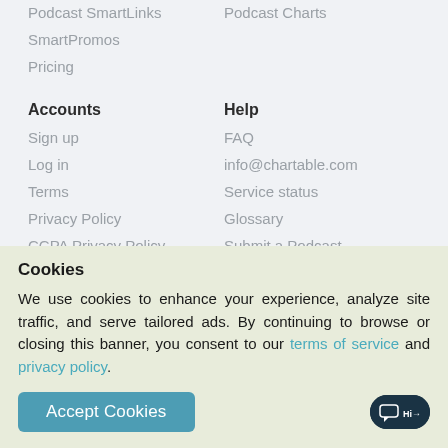Podcast SmartLinks
Podcast Charts
SmartPromos
Pricing
Accounts
Help
Sign up
FAQ
Log in
info@chartable.com
Terms
Service status
Privacy Policy
Glossary
CCPA Privacy Policy
Submit a Podcast
GDPR Website Policy
Cookies
We use cookies to enhance your experience, analyze site traffic, and serve tailored ads. By continuing to browse or closing this banner, you consent to our terms of service and privacy policy.
Accept Cookies